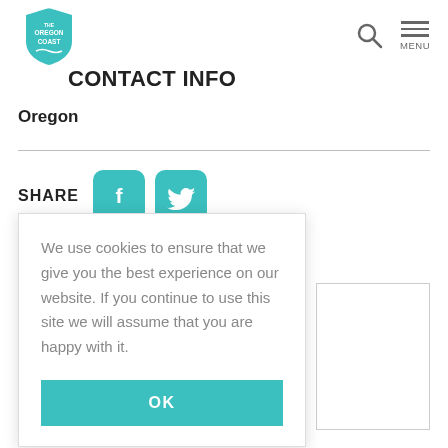[Figure (logo): The Oregon Coast shield logo in teal/green color]
CONTACT INFO
Oregon
SHARE
[Figure (illustration): Facebook and Twitter social share buttons in teal]
We use cookies to ensure that we give you the best experience on our website. If you continue to use this site we will assume that you are happy with it.
OK